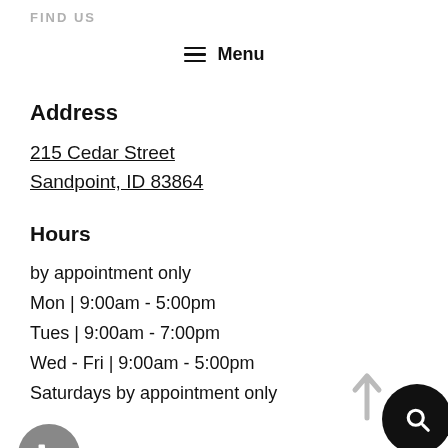FIND US
≡ Menu
Address
215 Cedar Street
Sandpoint, ID 83864
Hours
by appointment only
Mon | 9:00am - 5:00pm
Tues | 9:00am - 7:00pm
Wed - Fri | 9:00am - 5:00pm
Saturdays by appointment only
SEARCH
Search ...